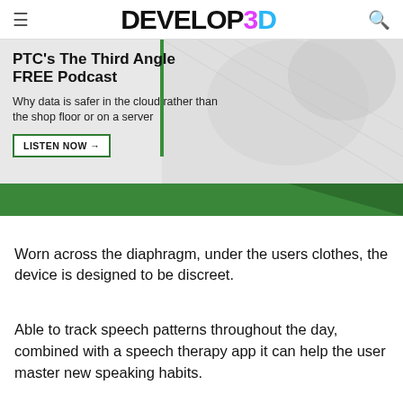DEVELOP3D
[Figure (screenshot): PTC's The Third Angle FREE Podcast advertisement banner. Text: 'PTC's The Third Angle FREE Podcast — Why data is safer in the cloud rather than the shop floor or on a server'. Button: 'LISTEN NOW →'. Green decorative bar at bottom.]
Worn across the diaphragm, under the users clothes, the device is designed to be discreet.
Able to track speech patterns throughout the day, combined with a speech therapy app it can help the user master new speaking habits.
Nearly 3% of the UK population stutters, and BeneTalk aims to help them through a product, app and speech therapist network.